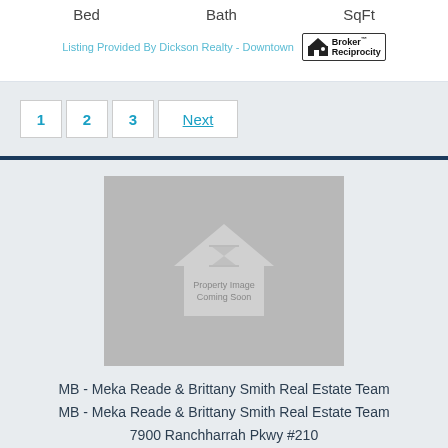Bed   Bath   SqFt
Listing Provided By Dickson Realty - Downtown
1  2  3  Next
[Figure (illustration): Property Image Coming Soon placeholder graphic with house icon]
MB - Meka Reade & Brittany Smith Real Estate Team
MB - Meka Reade & Brittany Smith Real Estate Team
7900 Ranchharrah Pkwy #210
Reno, NV 89511
775-813-7271